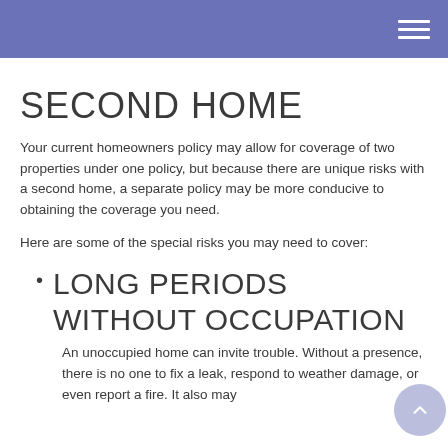SECOND HOME
Your current homeowners policy may allow for coverage of two properties under one policy, but because there are unique risks with a second home, a separate policy may be more conducive to obtaining the coverage you need.
Here are some of the special risks you may need to cover:
LONG PERIODS WITHOUT OCCUPATION
An unoccupied home can invite trouble. Without a presence, there is no one to fix a leak, respond to weather damage, or even report a fire. It also may